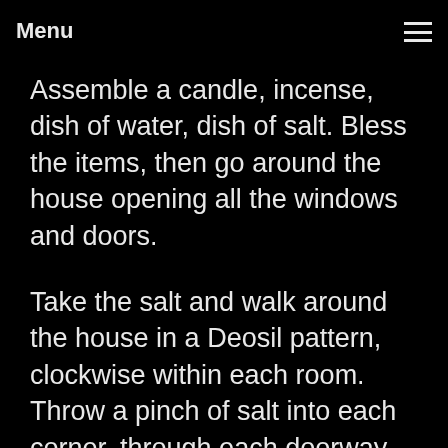Menu
Assemble a candle, incense, dish of water, dish of salt. Bless the items, then go around the house opening all the windows and doors.
Take the salt and walk around the house in a Deosil pattern, clockwise within each room. Throw a pinch of salt into each corner, through each doorway and out each window. As you toss it, see it burning away unwanted energy and repeat as you go,